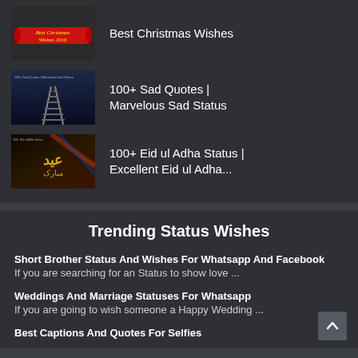Best Christmas Wishes
[Figure (photo): Christmas wishes banner with red ribbon]
100+ Sad Quotes | Marvelous Sad Status
[Figure (photo): Dark railway tracks leading into distance]
100+ Eid ul Adha Status | Excellent Eid ul Adha...
[Figure (photo): Eid ul Adha golden Arabic calligraphy on dark background]
Trending Status Wishes
Short Brother Status And Wishes For Whatsapp And Facebook
If you are searching for an Status to show love ...
Weddings And Marriage Statuses For Whatsapp
If you are going to wish someone a Happy Wedding ...
Best Captions And Quotes For Selfies